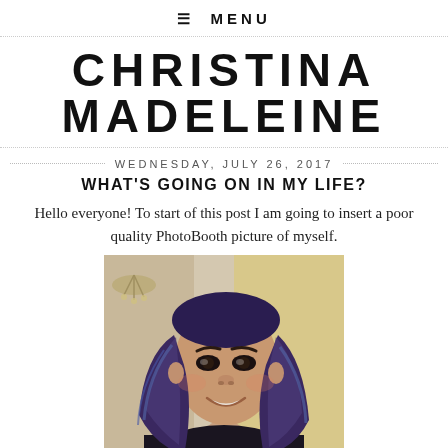≡ MENU
CHRISTINA MADELEINE
WEDNESDAY, JULY 26, 2017
WHAT'S GOING ON IN MY LIFE?
Hello everyone! To start of this post I am going to insert a poor quality PhotoBooth picture of myself.
[Figure (photo): A young woman with long purple/blue hair, smiling, in a selfie-style PhotoBooth photo. Background shows a room interior.]